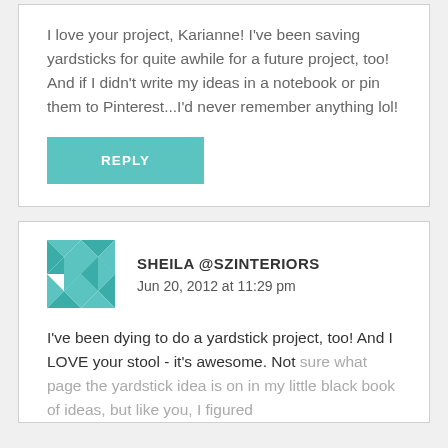I love your project, Karianne! I've been saving yardsticks for quite awhile for a future project, too! And if I didn't write my ideas in a notebook or pin them to Pinterest...I'd never remember anything lol!
REPLY
SHEILA @SZINTERIORS
Jun 20, 2012 at 11:29 pm
I've been dying to do a yardstick project, too! And I LOVE your stool - it's awesome. Not sure what page the yardstick idea is on in my little black book of ideas, but like you, I figured